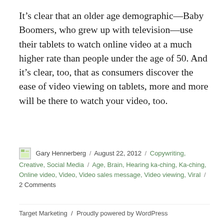It’s clear that an older age demographic—Baby Boomers, who grew up with television—use their tablets to watch online video at a much higher rate than people under the age of 50. And it’s clear, too, that as consumers discover the ease of video viewing on tablets, more and more will be there to watch your video, too.
Gary Hennerberg / August 22, 2012 / Copywriting, Creative, Social Media / Age, Brain, Hearing ka-ching, Ka-ching, Online video, Video, Video sales message, Video viewing, Viral / 2 Comments
Target Marketing / Proudly powered by WordPress